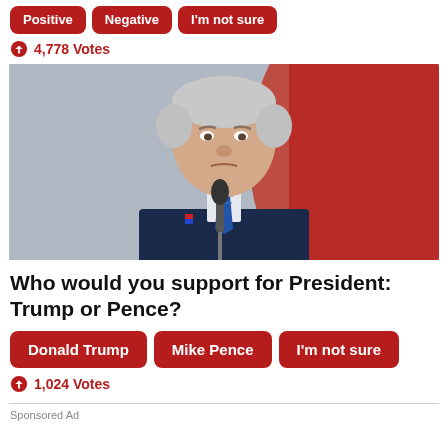Positive | Negative | I'm not sure
4,778 Votes
[Figure (photo): Man in dark suit at microphone with red background]
Who would you support for President: Trump or Pence?
Donald Trump | Mike Pence | I'm not sure
1,024 Votes
Sponsored Ad